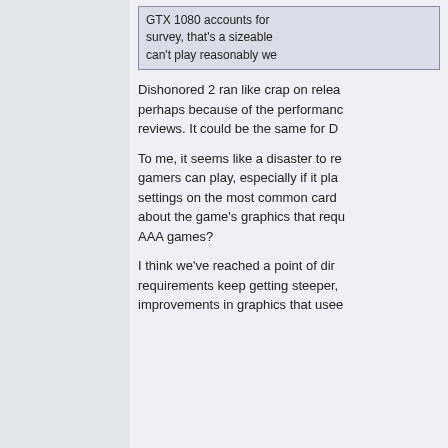GTX 1080 accounts for ... survey, that's a sizeable ... can't play reasonably we...
Dishonored 2 ran like crap on rele... perhaps because of the performanc... reviews. It could be the same for D...
To me, it seems like a disaster to re... gamers can play, especially if it pla... settings on the most common card ... about the game's graphics that requ... AAA games?
I think we've reached a point of dir... requirements keep getting steeper, ... improvements in graphics that usee...
15th Sep 2021 10:43
Malf
Thing What Kicks
Registered: Apr 2004
Location: London
Quick question: does Deathloop us... launched through Steam?